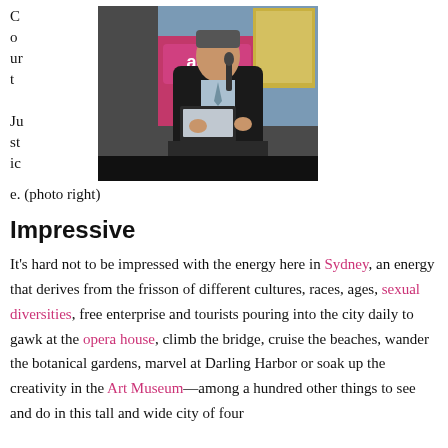Court Justice. (photo right)
[Figure (photo): Man in dark suit speaking at a podium with a microphone and laptop, in front of a pink ACOR banner and a projected presentation screen.]
Impressive
It’s hard not to be impressed with the energy here in Sydney, an energy that derives from the frisson of different cultures, races, ages, sexual diversities, free enterprise and tourists pouring into the city daily to gawk at the opera house, climb the bridge, cruise the beaches, wander the botanical gardens, marvel at Darling Harbor or soak up the creativity in the Art Museum—among a hundred other things to see and do in this tall and wide city of four